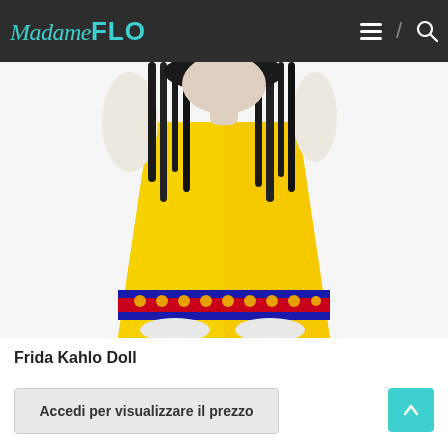Madame FLO
[Figure (photo): Close-up photo of a Frida Kahlo doll wearing a yellow dress with a blue and red decorative hem border, with black braided hair, against a white background.]
Frida Kahlo Doll
Accedi per visualizzare il prezzo